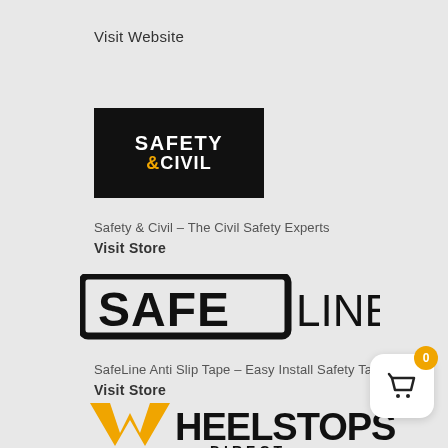Visit Website
[Figure (logo): Safety & Civil logo — black background with white SAFETY text and orange &CIVIL text]
Safety & Civil – The Civil Safety Experts
Visit Store
[Figure (logo): SafeLine logo — bold outlined rectangular bracket style wordmark in black]
SafeLine Anti Slip Tape – Easy Install Safety Tapes
Visit Store
[Figure (logo): Wheelstops Direct logo — orange and black wordmark with stylized W]